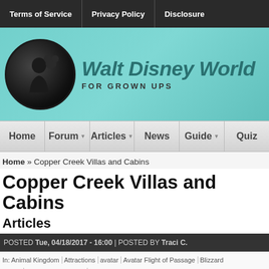Terms of Service | Privacy Policy | Disclosure
[Figure (logo): Walt Disney World For Grown Ups website logo with silhouette of person holding Mickey Mouse ears in a dark circle, teal background, teal italic site title text]
Home | Forum | Articles | News | Guide | Quiz
Home » Copper Creek Villas and Cabins
Copper Creek Villas and Cabins
Articles
POSTED Tue, 04/18/2017 - 16:00 | POSTED BY Traci C.
In: Animal Kingdom | Attractions | avatar | Avatar Flight of Passage | Blizzard Beach | Character Breakfast | Copper Creek Villas and Cabins | Disney films | Disney Pixar | Disney Water Parks | Disney World | Disney's BoardWalk | Disney's Hollywood Studios | Disney's Wilderness Lodge | Fireworks | Frozen | Happily Ever After